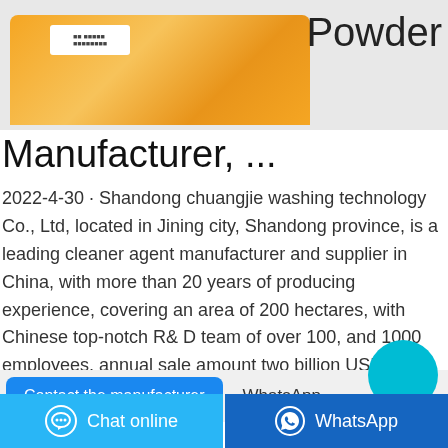[Figure (photo): Orange/yellow product bag (powder detergent) on a grey background]
Powder Manufacturer, ...
2022-4-30 · Shandong chuangjie washing technology Co., Ltd, located in Jining city, Shandong province, is a leading cleaner agent manufacturer and supplier in China, with more than 20 years of producing experience, covering an area of 200 hectares, with Chinese top-notch R& D team of over 100, and 1000 employees, annual sale amount two billion USD.
Contact the manufacturer
WhatsApp
Chinese
Chat online
WhatsApp